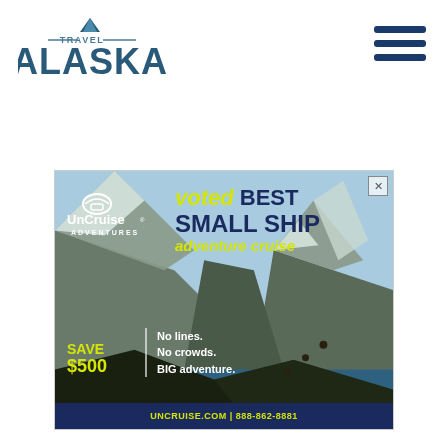[Figure (logo): Travel Alaska logo with mountain icon above text]
[Figure (other): Hamburger menu icon with three horizontal dark blue lines]
[Figure (infographic): UnCruise Adventures advertisement. Blue mountain fjord background with hikers. Text: voted BEST SMALL SHIP adventure cruise. SAVE $500. No lines. No crowds. BIG adventure. UNCRUISE.COM | 888-862-8881]